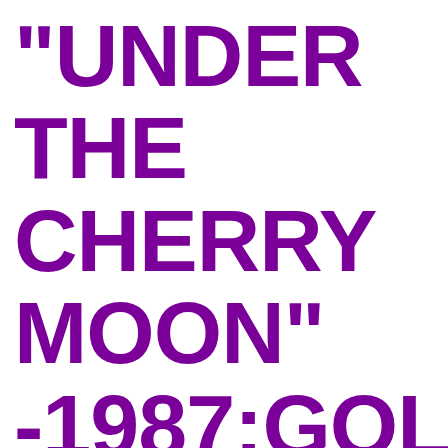"UNDER THE CHERRY MOON" -1987:GOLDEN